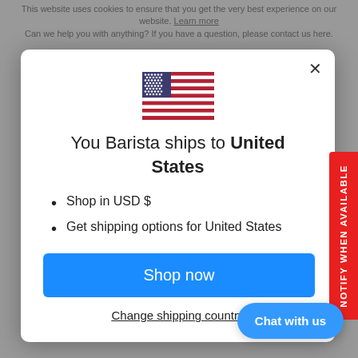This website uses cookies to ensure that you get the very best experience on our website. Learn more Can we help you with anything? If you have a question, please contact us here.
[Figure (illustration): US flag emoji/icon centered in modal]
You Barista ships to United States
Shop in USD $
Get shipping options for United States
Shop now
Change shipping country
NOTIFY WHEN AVAILABLE
Chat with us